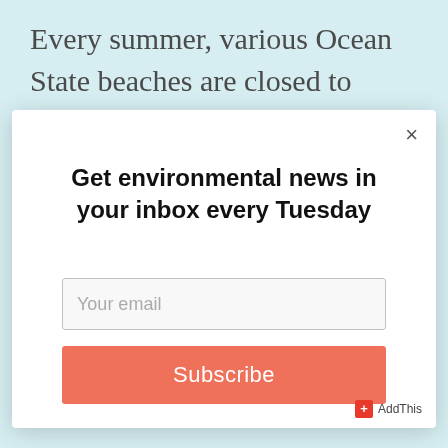Every summer, various Ocean State beaches are closed to swimming, because polluted stormwater runoff
[Figure (screenshot): Modal popup with newsletter subscription form. Contains close button (×), heading 'Get environmental news in your inbox every Tuesday', an email input field with placeholder 'Your email', and a coral-colored 'Subscribe' button. AddThis badge in bottom-right corner.]